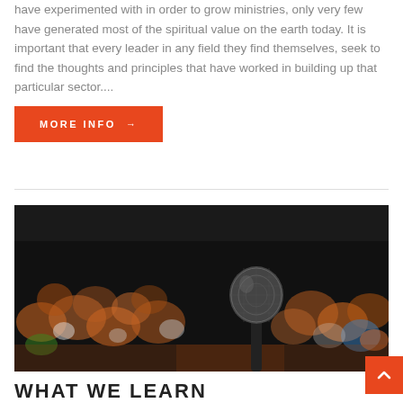have experimented with in order to grow ministries, only very few have generated most of the spiritual value on the earth today. It is important that every leader in any field they find themselves, seek to find the thoughts and principles that have worked in building up that particular sector....
MORE INFO →
[Figure (photo): Close-up of a microphone in the foreground with a blurred crowd audience in the background. The crowd is seated in an auditorium setting with orange/red tones.]
WHAT WE LEARN...